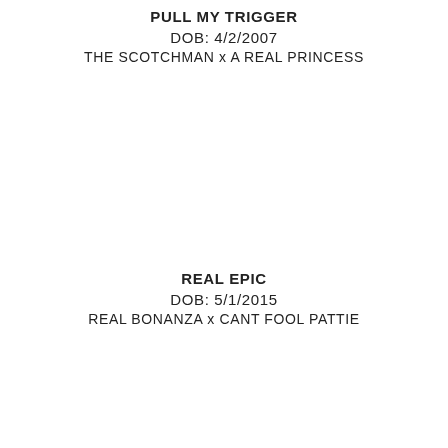PULL MY TRIGGER
DOB: 4/2/2007
THE SCOTCHMAN x A REAL PRINCESS
REAL EPIC
DOB: 5/1/2015
REAL BONANZA x CANT FOOL PATTIE